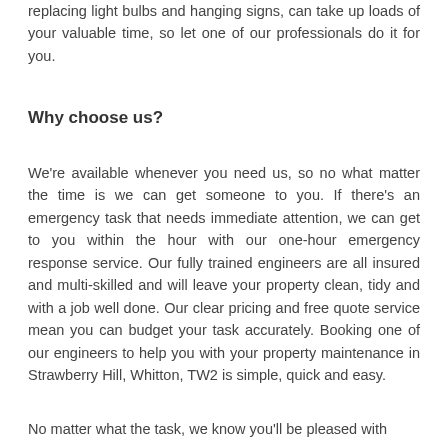replacing light bulbs and hanging signs, can take up loads of your valuable time, so let one of our professionals do it for you.
Why choose us?
We're available whenever you need us, so no what matter the time is we can get someone to you. If there's an emergency task that needs immediate attention, we can get to you within the hour with our one-hour emergency response service. Our fully trained engineers are all insured and multi-skilled and will leave your property clean, tidy and with a job well done. Our clear pricing and free quote service mean you can budget your task accurately. Booking one of our engineers to help you with your property maintenance in Strawberry Hill, Whitton, TW2 is simple, quick and easy.
No matter what the task, we know you'll be pleased with